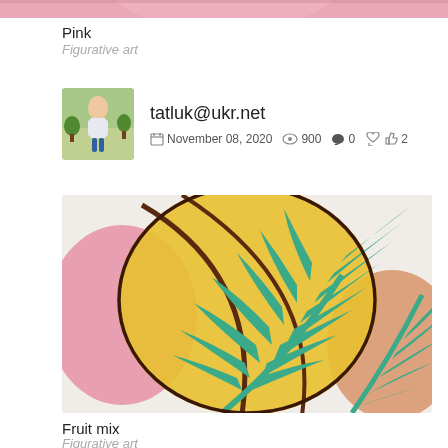[Figure (photo): Cropped top portion of a pink artwork painting]
Pink
Figurative art
tatluk@ukr.net  November 08, 2020  900  0  2
[Figure (photo): Painting titled Fruit mix showing tropical palm leaves in teal/green over a large yellow/orange circle, with pink and orange abstract shapes, on a light background]
Fruit mix
Figurative art